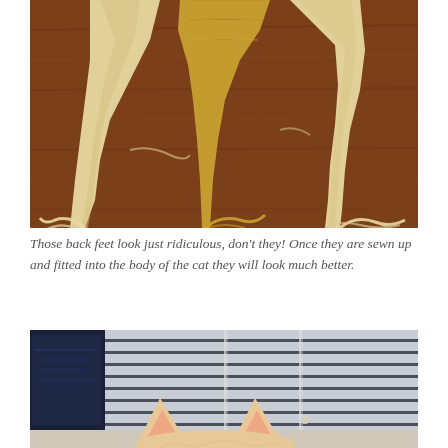[Figure (photo): Knitted cat back feet pieces laid flat on a dark wood surface, showing cream and golden yellow yarn pieces that look like disembodied legs with loose yarn tails.]
Those back feet look just ridiculous, don't they! Once they are sewn up and fitted into the body of the cat they will look much better.
[Figure (photo): Top portion of a real cat's head (ears visible) peering up over a surface toward window blinds. The cat has light orange/cream fur with large pinkish ears. Window blinds with pull cords are visible in the background, with a computer monitor on the left.]